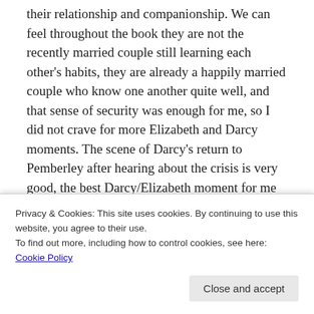their relationship and companionship. We can feel throughout the book they are not the recently married couple still learning each other's habits, they are already a happily married couple who know one another quite well, and that sense of security was enough for me, so I did not crave for more Elizabeth and Darcy moments. The scene of Darcy's return to Pemberley after hearing about the crisis is very good, the best Darcy/Elizabeth moment for me in the book, and I hope we get more scenes like that in Courage Requires.
Another aspect I appreciated in the book was
Privacy & Cookies: This site uses cookies. By continuing to use this website, you agree to their use.
To find out more, including how to control cookies, see here: Cookie Policy
Close and accept
Rachel did a great job in the writing.